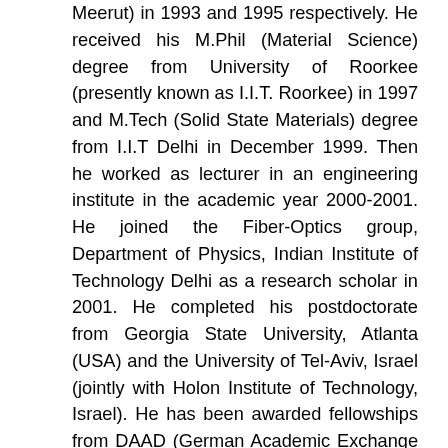Meerut) in 1993 and 1995 respectively. He received his M.Phil (Material Science) degree from University of Roorkee (presently known as I.I.T. Roorkee) in 1997 and M.Tech (Solid State Materials) degree from I.I.T Delhi in December 1999. Then he worked as lecturer in an engineering institute in the academic year 2000-2001. He joined the Fiber-Optics group, Department of Physics, Indian Institute of Technology Delhi as a research scholar in 2001. He completed his postdoctorate from Georgia State University, Atlanta (USA) and the University of Tel-Aviv, Israel (jointly with Holon Institute of Technology, Israel). He has been awarded fellowships from DAAD (German Academic Exchange Service), and CSIR (Council of Scientific and Industrial Research, India). He has also availed various scholarships namely, integrated scholarship, national scholarship, and scholarship from Education Directorate during his studies. His current research interests include the development of indigenous tools